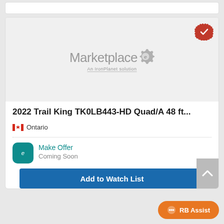[Figure (screenshot): Marketplace e logo — an IronPlanet solution — placeholder image on gray background with verified badge in top right corner]
2022 Trail King TK0LB443-HD Quad/A 48 ft...
Ontario
Make Offer
Coming Soon
Add to Watch List
RB Assist